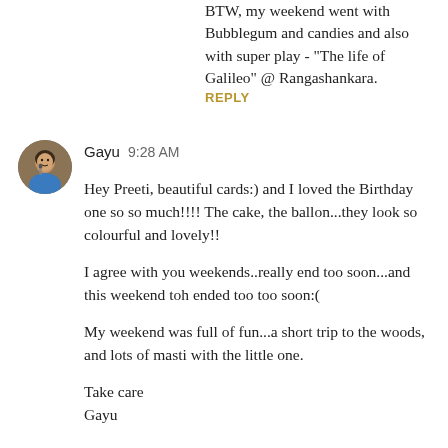BTW, my weekend went with Bubblegum and candies and also with super play - "The life of Galileo" @ Rangashankara.
REPLY
[Figure (photo): Circular avatar photo of a person (Gayu) singing into a microphone, wearing blue top]
Gayu  9:28 AM
Hey Preeti, beautiful cards:) and I loved the Birthday one so so much!!!! The cake, the ballon...they look so colourful and lovely!!
I agree with you weekends..really end too soon...and this weekend toh ended too too soon:(
My weekend was full of fun...a short trip to the woods, and lots of masti with the little one.
Take care
Gayu